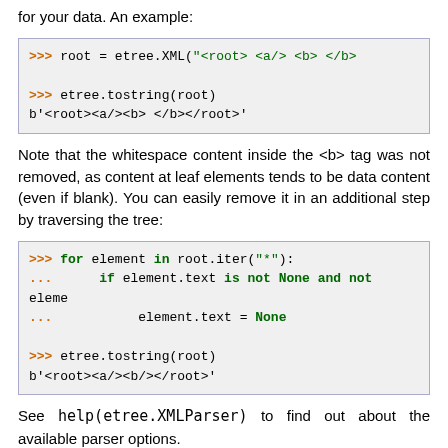for your data. An example:
[Figure (screenshot): Python code block: >>> root = etree.XML("<root>  <a/>   <b>  </b>
>>> etree.tostring(root)
b'<root><a/><b>  </b></root>']
Note that the whitespace content inside the <b> tag was not removed, as content at leaf elements tends to be data content (even if blank). You can easily remove it in an additional step by traversing the tree:
[Figure (screenshot): Python code block: >>> for element in root.iter("*"):
...     if element.text is not None and not eleme
...         element.text = None
>>> etree.tostring(root)
b'<root><a/><b/></root>']
See help(etree.XMLParser) to find out about the available parser options.
Incremental parsing